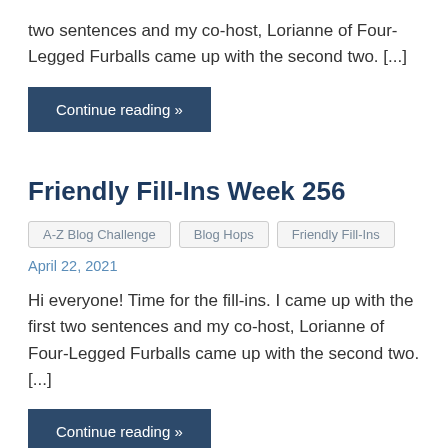two sentences and my co-host, Lorianne of Four-Legged Furballs came up with the second two. [...]
Continue reading »
Friendly Fill-Ins Week 256
A-Z Blog Challenge
Blog Hops
Friendly Fill-Ins
April 22, 2021
Hi everyone! Time for the fill-ins. I came up with the first two sentences and my co-host, Lorianne of Four-Legged Furballs came up with the second two. [...]
Continue reading »